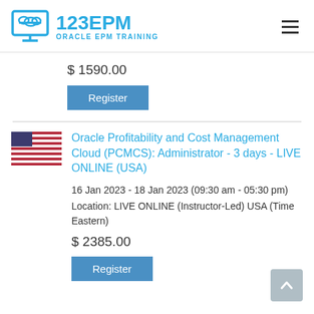123EPM ORACLE EPM TRAINING
$ 1590.00
Register
Oracle Profitability and Cost Management Cloud (PCMCS): Administrator - 3 days - LIVE ONLINE (USA)
16 Jan 2023 - 18 Jan 2023 (09:30 am - 05:30 pm)
Location: LIVE ONLINE (Instructor-Led) USA (Time Eastern)
$ 2385.00
Register